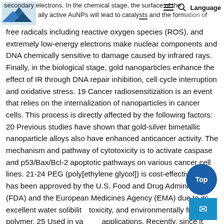secondary electrons. In the chemical stage, the surface of the ... ally active AuNPs will lead to catalysts and the formation of
free radicals including reactive oxygen species (ROS), and extremely low-energy electrons make nuclear components and DNA chemically sensitive to damage caused by infrared rays. Finally, in the biological stage, gold nanoparticles enhance the effect of IR through DNA repair inhibition, cell cycle interruption and oxidative stress. 19 Cancer radiosensitization is an event that relies on the internalization of nanoparticles in cancer cells. This process is directly affected by the following factors: 20 Previous studies have shown that gold-silver bimetallic nanoparticle alloys also have enhanced anticancer activity. The mechanism and pathway of cytotoxicity is to activate caspase and p53/Bax/Bcl-2 apoptotic pathways on various cancer cell lines. 21-24 PEG (poly[ethylene glycol]) is cost-effective and has been approved by the U.S. Food and Drug Administration (FDA) and the European Medicines Agency (EMA) due to its excellent water solubility, toxicity, and environmentally friendly polymer. 25 Used in various applications. Recently, since it interacts with metal NPs through